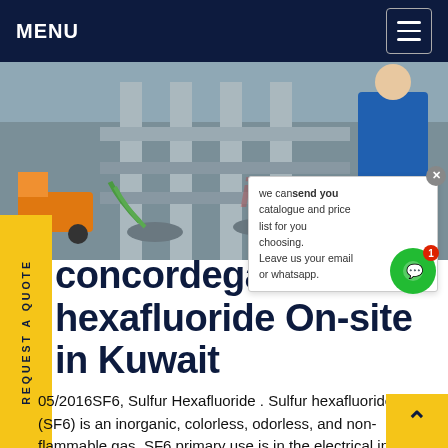MENU
[Figure (photo): Industrial machinery with orange forklift vehicle and worker in blue clothing, piping and equipment visible]
REQUEST A QUOTE
we can send you catalogue and price list for you choosing. Leave us your email or whatsapp.
concordegas sulfur hexafluoride On-site in Kuwait
05/2016SF6, Sulfur Hexafluoride . Sulfur hexafluoride (SF6) is an inorganic, colorless, odorless, and non-flammable gas. SF6 primary use is in the electrical industry as a gaseous dielectric medium for various voltage circuit breakers, switchgear and